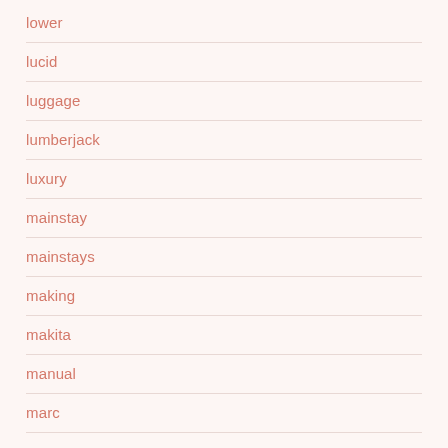lower
lucid
luggage
lumberjack
luxury
mainstay
mainstays
making
makita
manual
marc